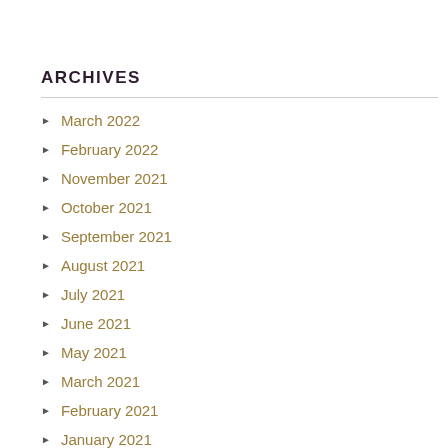ARCHIVES
March 2022
February 2022
November 2021
October 2021
September 2021
August 2021
July 2021
June 2021
May 2021
March 2021
February 2021
January 2021